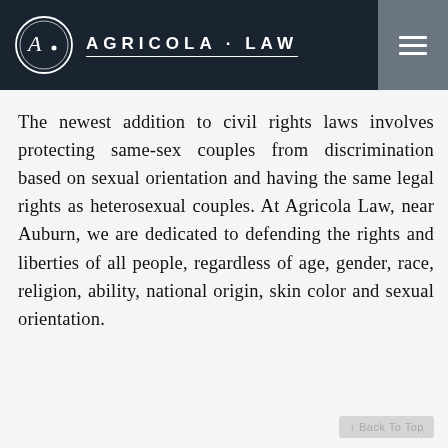[Figure (logo): Agricola Law logo with circular emblem containing stylized 'A' and 'L' letters, and text 'AGRICOLA · LAW' in uppercase with a horizontal rule, on dark navy background header with hamburger menu icon on the right]
The newest addition to civil rights laws involves protecting same-sex couples from discrimination based on sexual orientation and having the same legal rights as heterosexual couples. At Agricola Law, near Auburn, we are dedicated to defending the rights and liberties of all people, regardless of age, gender, race, religion, ability, national origin, skin color and sexual orientation.